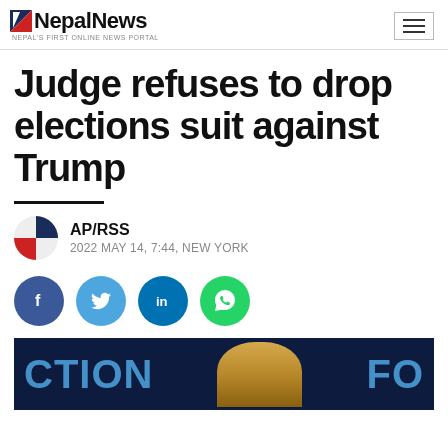NepalNews — NEPAL'S FIRST ONLINE NEWS PORTAL
Judge refuses to drop elections suit against Trump
AP/RSS — 2022 MAY 14, 7:44, NEW YORK
[Figure (infographic): Social media share buttons: Facebook, Twitter, LinkedIn, WhatsApp]
[Figure (photo): Partial photo of Trump at a campaign event with large blue 'CTION' and 'FO' lettering in background]